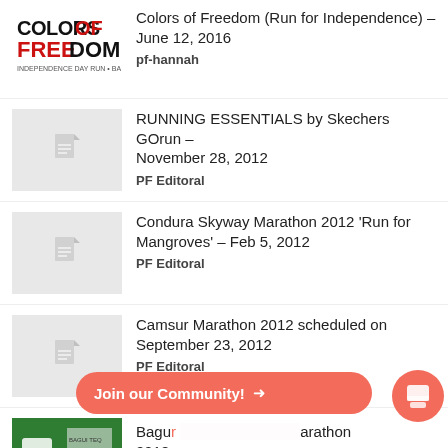Colors of Freedom (Run for Independence) – June 12, 2016
pf-hannah
RUNNING ESSENTIALS by Skechers GOrun – November 28, 2012
PF Editoral
Condura Skyway Marathon 2012 'Run for Mangroves' – Feb 5, 2012
PF Editoral
Camsur Marathon 2012 scheduled on September 23, 2012
PF Editoral
Baguio [obscured] marathon 2018
PF Editoral
[Figure (infographic): Join our Community! button overlay with arrow and chat icon]